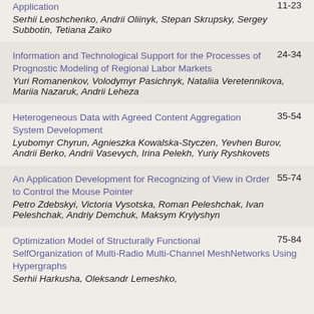Application 11-23
Serhii Leoshchenko, Andrii Oliinyk, Stepan Skrupsky, Sergey Subbotin, Tetiana Zaiko
Information and Technological Support for the Processes of Prognostic Modeling of Regional Labor Markets 24-34
Yuri Romanenkov, Volodymyr Pasichnyk, Nataliia Veretennikova, Mariia Nazaruk, Andrii Leheza
Heterogeneous Data with Agreed Content Aggregation System Development 35-54
Lyubomyr Chyrun, Agnieszka Kowalska-Styczen, Yevhen Burov, Andrii Berko, Andrii Vasevych, Irina Pelekh, Yuriy Ryshkovets
An Application Development for Recognizing of View in Order to Control the Mouse Pointer 55-74
Petro Zdebskyi, Victoria Vysotska, Roman Peleshchak, Ivan Peleshchak, Andriy Demchuk, Maksym Krylyshyn
Optimization Model of Structurally Functional SelfOrganization of Multi-Radio Multi-Channel MeshNetworks Using Hypergraphs 75-84
Serhii Harkusha, Oleksandr Lemeshko,